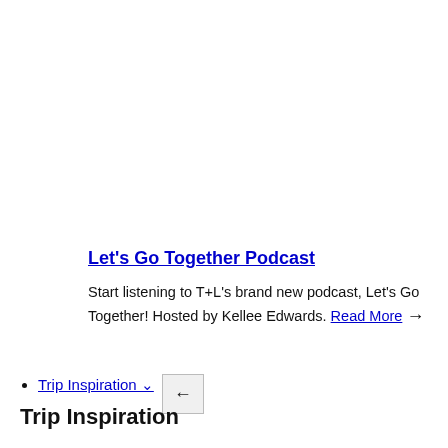Let's Go Together Podcast
Start listening to T+L's brand new podcast, Let's Go Together! Hosted by Kellee Edwards. Read More →
Trip Inspiration ˅
Trip Inspiration